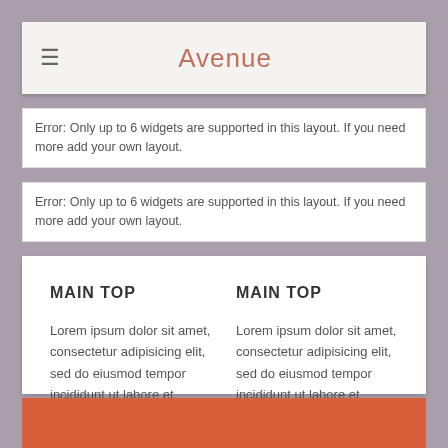Avenue
Error: Only up to 6 widgets are supported in this layout. If you need more add your own layout.
Error: Only up to 6 widgets are supported in this layout. If you need more add your own layout.
MAIN TOP
Lorem ipsum dolor sit amet, consectetur adipisicing elit, sed do eiusmod tempor incididunt ut labore et dolore.
MAIN TOP
Lorem ipsum dolor sit amet, consectetur adipisicing elit, sed do eiusmod tempor incididunt ut labore et dolore.